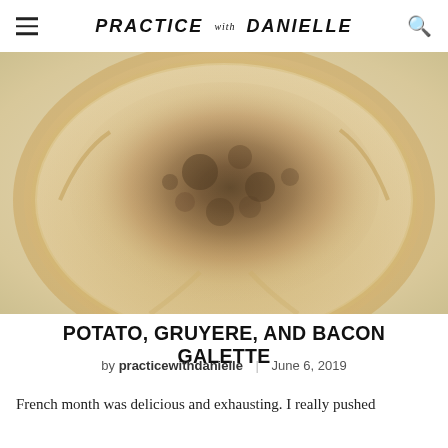PRACTICE with DANIELLE
[Figure (photo): Close-up photo of a rustic potato, gruyere, and bacon galette with golden-brown crimped pastry edges and a dark savory filling, viewed from above on a light surface.]
POTATO, GRUYERE, AND BACON GALETTE
by practicewithdanielle | June 6, 2019
French month was delicious and exhausting. I really pushed